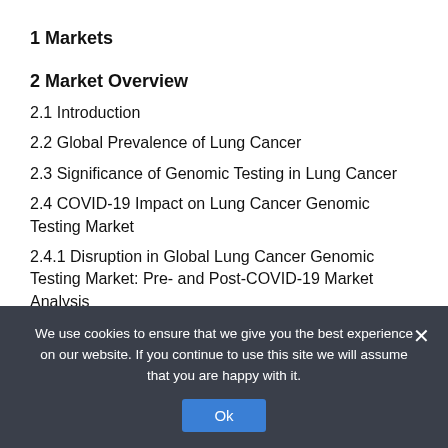1 Markets
2 Market Overview
2.1 Introduction
2.2 Global Prevalence of Lung Cancer
2.3 Significance of Genomic Testing in Lung Cancer
2.4 COVID-19 Impact on Lung Cancer Genomic Testing Market
2.4.1 Disruption in Global Lung Cancer Genomic Testing Market: Pre- and Post-COVID-19 Market Analysis
2.4.2 COVID-19 Affecting Supply Chain of Global Lung Cancer Genomic Testing Market
We use cookies to ensure that we give you the best experience on our website. If you continue to use this site we will assume that you are happy with it.